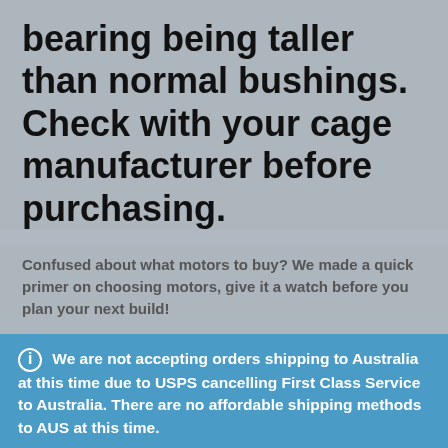bearing being taller than normal bushings.  Check with your cage manufacturer before purchasing.
Confused about what motors to buy? We made a quick primer on choosing motors, give it a watch before you plan your next build!
ⓘ  We are not accepting orders shipping to Australia at this time due to USPS cancelling First Class Service to Australia. There are no affordable shipping methods to AUS at this time.
Dismiss
[Figure (screenshot): Bottom navigation bar with search icon on left and shopping cart icon with badge showing '1' on right]